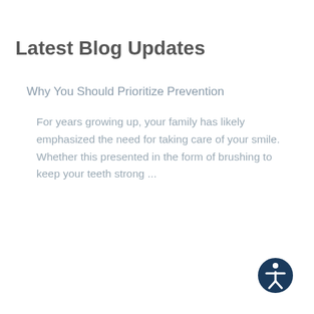Latest Blog Updates
Why You Should Prioritize Prevention
For years growing up, your family has likely emphasized the need for taking care of your smile. Whether this presented in the form of brushing to keep your teeth strong ...
[Figure (illustration): Accessibility icon — dark navy circle with a white human figure symbol inside]